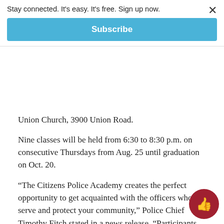Stay connected. It's easy. It's free. Sign up now.
Subscribe
Union Church, 3900 Union Road.
Nine classes will be held from 6:30 to 8:30 p.m. on consecutive Thursdays from Aug. 25 until graduation on Oct. 20.
“The Citizens Police Academy creates the perfect opportunity to get acquainted with the officers who serve and protect your community,” Police Chief Timothy Fitch stated in a news release. “Participants learn about what steps they can take to avoid becoming the victim of a crime and they get an inside look at how the county Police Department operates. Instead of relying on television or Hollywood, graduates of these academies can gain personal knowledge and expertise about how their officers and their...